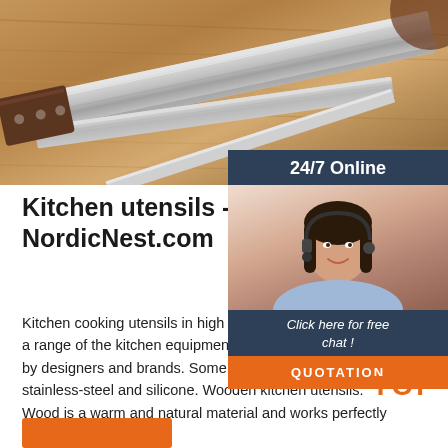[Figure (photo): Hero image of kitchen knives and utensils on a wooden surface]
[Figure (infographic): 24/7 Online chat widget with customer service representative photo, 'Click here for free chat!' text, and orange QUOTATION button]
Kitchen utensils - Shop at NordicNest.com
Kitchen cooking utensils in high quality. Here you will find a range of the kitchen equipment in high-quality materials by designers and brands. Some common include wood, stainless-steel and silicone. Wooden kitchen utensils. Wood is a warm and natural material and works perfectly in rustic interiors.